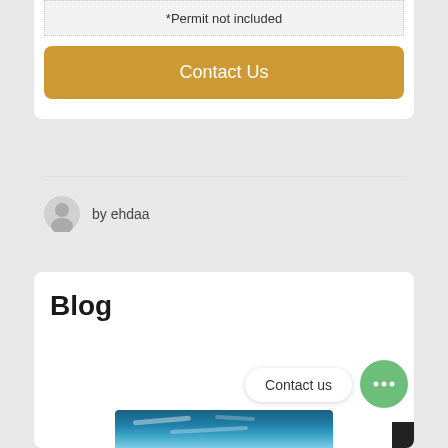*Permit not included
Contact Us
by ehdaa
Blog
Contact us
[Figure (photo): Ocean/water surface photo strip at bottom of page]